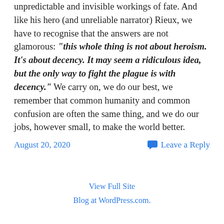unpredictable and invisible workings of fate. And like his hero (and unreliable narrator) Rieux, we have to recognise that the answers are not glamorous: “this whole thing is not about heroism. It’s about decency. It may seem a ridiculous idea, but the only way to fight the plague is with decency.” We carry on, we do our best, we remember that common humanity and common confusion are often the same thing, and we do our jobs, however small, to make the world better.
August 20, 2020
Leave a Reply
View Full Site
Blog at WordPress.com.